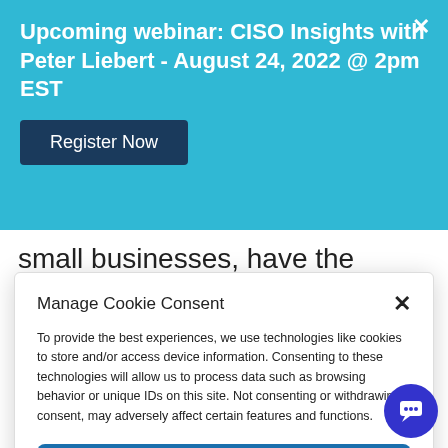Upcoming webinar: CISO Insights with Peter Liebert - August 24, 2022 @ 2pm EST
Register Now
small businesses, have the clarity about how to assess whether they're doing enough to secure consumers' data. Foresite consults with
Manage Cookie Consent
To provide the best experiences, we use technologies like cookies to store and/or access device information. Consenting to these technologies will allow us to process data such as browsing behavior or unique IDs on this site. Not consenting or withdrawing consent, may adversely affect certain features and functions.
ACCEPT
Cookie Policy  Privacy Policy